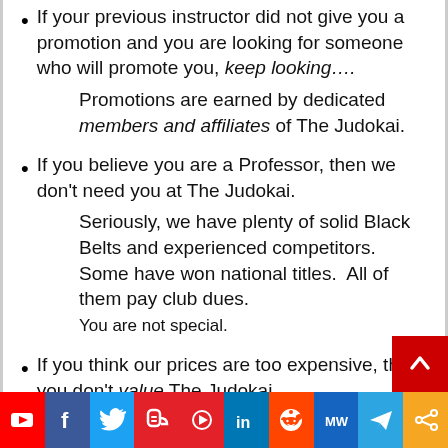If your previous instructor did not give you a promotion and you are looking for someone who will promote you, keep looking….
Promotions are earned by dedicated members and affiliates of The Judokai.
If you believe you are a Professor, then we don't need you at The Judokai.
Seriously, we have plenty of solid Black Belts and experienced competitors.  Some have won national titles.  All of them pay club dues.
You are not special.
If you think our prices are too expensive, then you don't value The Judokai.
[Figure (infographic): Social media icon bar with icons for YouTube, Facebook, Twitter, Parler, Rumble, LinkedIn, Reddit, MeWe, Telegram, and another icon. A red scroll-to-top button overlays the right side above the bar.]